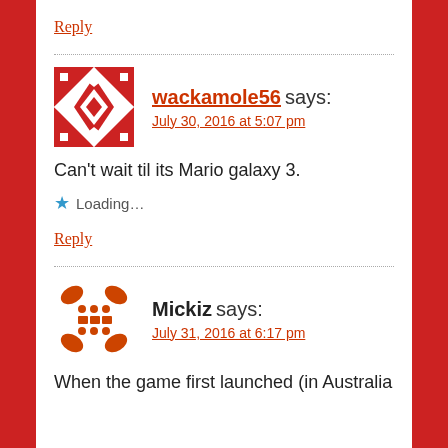Reply
wackamole56 says:
July 30, 2016 at 5:07 pm
Can't wait til its Mario galaxy 3.
Loading...
Reply
Mickiz says:
July 31, 2016 at 6:17 pm
When the game first launched (in Australia